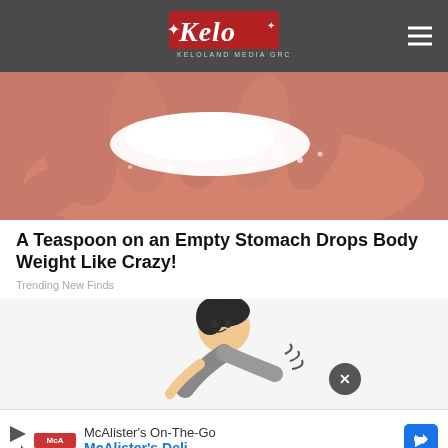KELOLAND Media Group
[Figure (photo): Close-up photo of a human hand holding a pile of white powder/salt crystals]
A Teaspoon on an Empty Stomach Drops Body Weight Like Crazy!
Trending New Finds
[Figure (illustration): Cartoon illustration of a man bending over in pain or discomfort]
[Figure (screenshot): Advertisement banner: McAlister's On-The-Go McAlister's Deli]